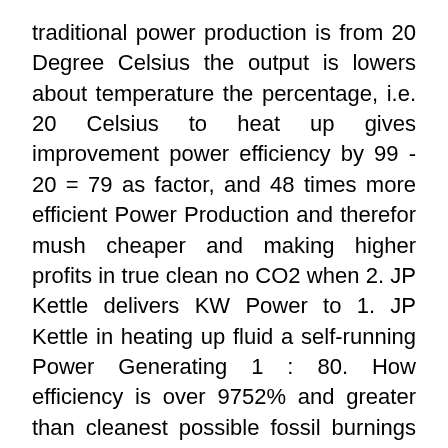traditional power production is from 20 Degree Celsius the output is lowers about temperature the percentage, i.e. 20 Celsius to heat up gives improvement power efficiency by 99 - 20 = 79 as factor, and 48 times more efficient Power Production and therefor mush cheaper and making higher profits in true clean no CO2 when 2. JP Kettle delivers KW Power to 1. JP Kettle in heating up fluid a self-running Power Generating 1 : 80. How efficiency is over 9752% and greater than cleanest possible fossil burnings for the national economy in true clean growth economics.
The cooling is traditional coolers as plates, tube, pipes, heat exchanger inside or outside the